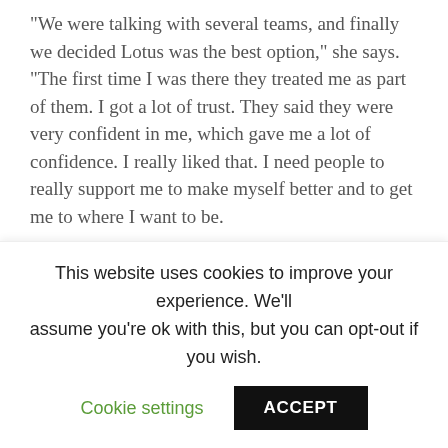"We were talking with several teams, and finally we decided Lotus was the best option," she says. "The first time I was there they treated me as part of them. I got a lot of trust. They said they were very confident in me, which gave me a lot of confidence. I really liked that. I need people to really support me to make myself better and to get me to where I want to be.
"[My role] has two parts. The first part is my program in the simulator and my physical program, to make me ready for the day when my first F1 test arrives. The second thing is to learn from the team what they do here on the track. I want to help the team to make the most of it, so I help them with whatever I can"
This website uses cookies to improve your experience. We'll assume you're ok with this, but you can opt-out if you wish.
Cookie settings | ACCEPT